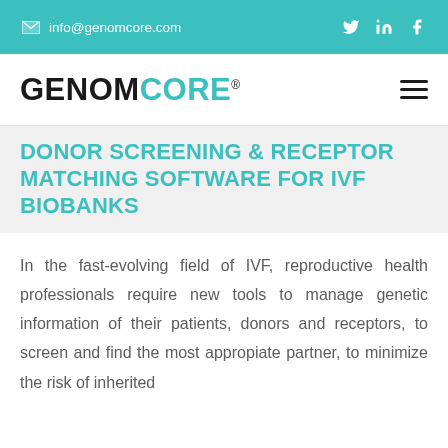info@genomcore.com
[Figure (logo): GENOMCORE logo with registered trademark symbol]
DONOR SCREENING & RECEPTOR MATCHING SOFTWARE FOR IVF BIOBANKS
In the fast-evolving field of IVF, reproductive health professionals require new tools to manage genetic information of their patients, donors and receptors, to screen and find the most appropiate partner, to minimize the risk of inherited